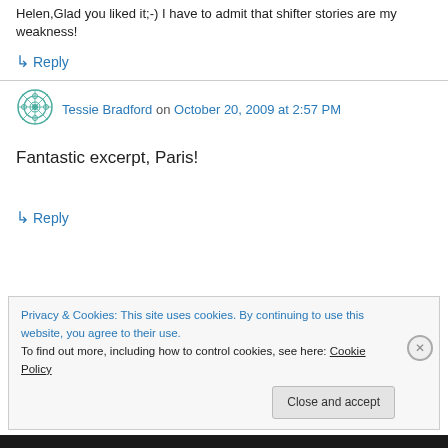Helen,Glad you liked it;-) I have to admit that shifter stories are my weakness!
↳ Reply
Tessie Bradford on October 20, 2009 at 2:57 PM
Fantastic excerpt, Paris!
↳ Reply
Privacy & Cookies: This site uses cookies. By continuing to use this website, you agree to their use. To find out more, including how to control cookies, see here: Cookie Policy
Close and accept